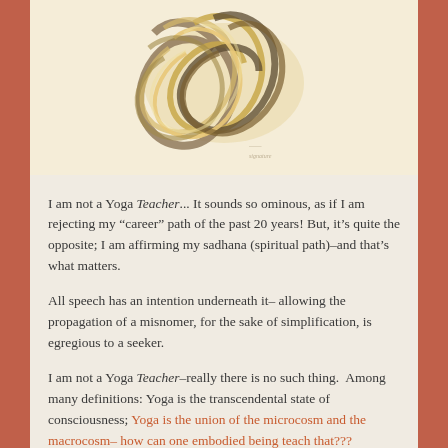[Figure (illustration): Abstract artwork showing interwoven ribbon-like forms with gold, tan and dark brown tones, resembling a knot or lotus form, on a pale beige background with a faint signature]
I am not a Yoga Teacher... It sounds so ominous, as if I am rejecting my “career” path of the past 20 years! But, it’s quite the opposite; I am affirming my sadhana (spiritual path)–and that’s what matters.
All speech has an intention underneath it– allowing the propagation of a misnomer, for the sake of simplification, is egregious to a seeker.
I am not a Yoga Teacher–really there is no such thing. Among many definitions: Yoga is the transcendental state of consciousness; Yoga is the union of the microcosm and the macrocosm– how can one embodied being teach that???